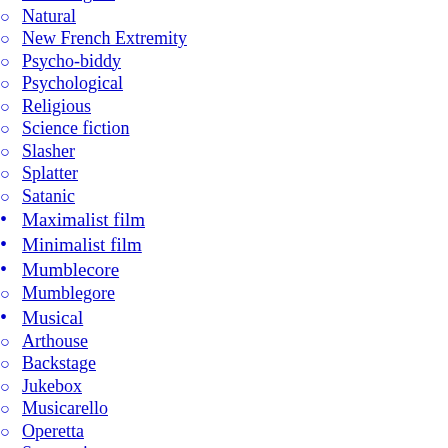Mumblegore
Natural
New French Extremity
Psycho-biddy
Psychological
Religious
Science fiction
Slasher
Splatter
Satanic
Maximalist film
Minimalist film
Mumblecore
Mumblegore
Musical
Arthouse
Backstage
Jukebox
Musicarello
Operetta
Sceneggiata
Mystery
Detective
Occult detective
Whodunit